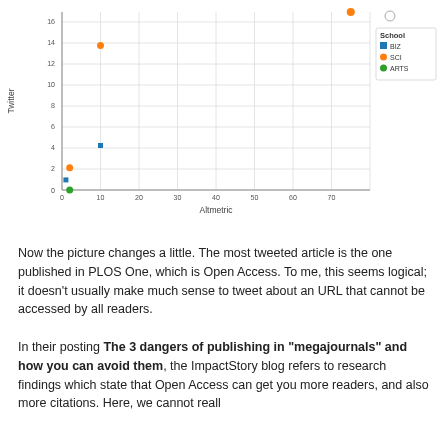[Figure (scatter-plot): Scatter plot of Twitter vs Altmetric scores for articles from three schools (BIZ, SCI, ARTS). Most points cluster near origin, with one outlier at approximately (75, 16) for SCI school.]
Now the picture changes a little. The most tweeted article is the one published in PLOS One, which is Open Access. To me, this seems logical; it doesn't usually make much sense to tweet about an URL that cannot be accessed by all readers.
In their posting The 3 dangers of publishing in "megajournals" and how you can avoid them, the ImpactStory blog refers to research findings which state that Open Access can get you more readers, and also more citations. Here, we cannot reall